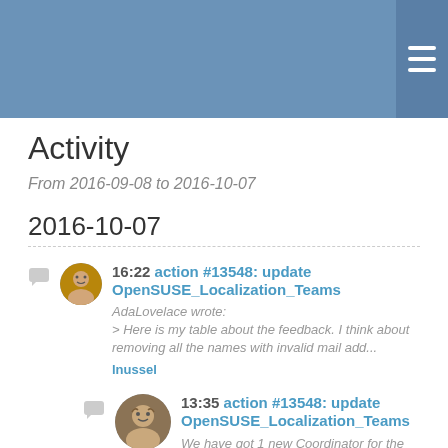Activity
Activity
From 2016-09-08 to 2016-10-07
2016-10-07
16:22 action #13548: update OpenSUSE_Localization_Teams
AdaLovelace wrote:
> Here is my table about the feedback. I think about removing all the names with invalid mail add...
lnussel
13:35 action #13548: update OpenSUSE_Localization_Teams
We have got 1 new Coordinator for the Ukrainian team after my mail, not more...
Here is my table about the feedback....
AdaLovelace